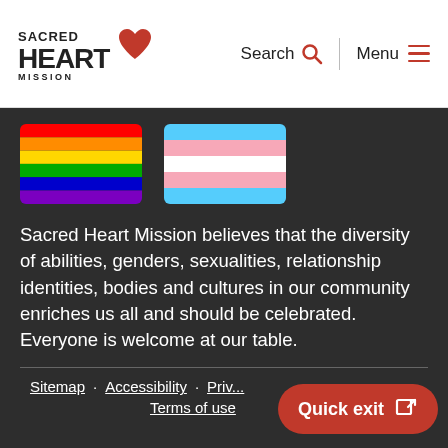Sacred Heart Mission — Search | Menu
[Figure (illustration): Rainbow pride flag — six horizontal stripes: red, orange, yellow, green, blue, purple]
[Figure (illustration): Transgender pride flag — five horizontal stripes: light blue, pink, white, pink, light blue]
Sacred Heart Mission believes that the diversity of abilities, genders, sexualities, relationship identities, bodies and cultures in our community enriches us all and should be celebrated. Everyone is welcome at our table.
Sitemap · Accessibility · Privacy · Terms of use